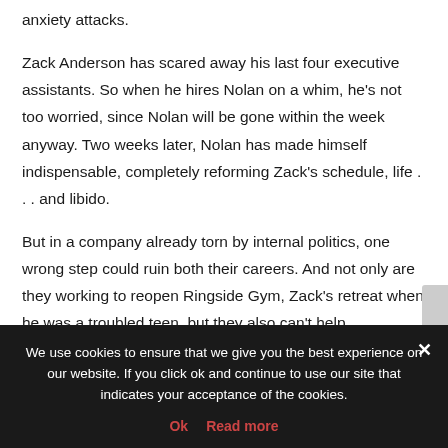anxiety attacks.

Zack Anderson has scared away his last four executive assistants. So when he hires Nolan on a whim, he's not too worried, since Nolan will be gone within the week anyway. Two weeks later, Nolan has made himself indispensable, completely reforming Zack's schedule, life . . . and libido.

But in a company already torn by internal politics, one wrong step could ruin both their careers. And not only are they working to reopen Ringside Gym, Zack's retreat when he was a troubled teen, but they also can't help themselves falling for each other. If
only the rest of their lives could go as smoothly as things do
We use cookies to ensure that we give you the best experience on our website. If you click ok and continue to use our site that indicates your acceptance of the cookies.
Ok   Read more